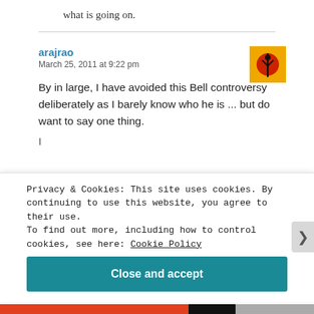what is going on.
arajrao
March 25, 2011 at 9:22 pm
[Figure (illustration): Square avatar image with yellow/orange background and red circle with dark plant/tree silhouette]
By in large, I have avoided this Bell controversy deliberately as I barely know who he is ... but do want to say one thing.
Privacy & Cookies: This site uses cookies. By continuing to use this website, you agree to their use. To find out more, including how to control cookies, see here: Cookie Policy
Close and accept